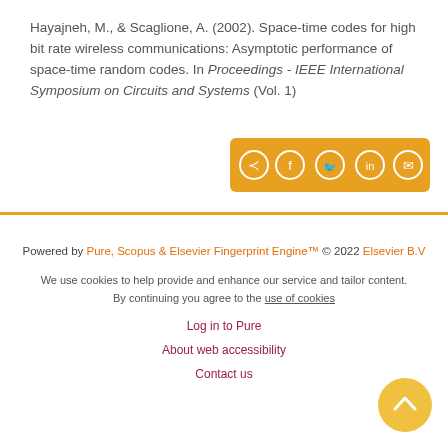Hayajneh, M., & Scaglione, A. (2002). Space-time codes for high bit rate wireless communications: Asymptotic performance of space-time random codes. In Proceedings - IEEE International Symposium on Circuits and Systems (Vol. 1)
[Figure (other): Share bar with social media icons (share, Facebook, Twitter, LinkedIn, email) on an orange background]
Powered by Pure, Scopus & Elsevier Fingerprint Engine™ © 2022 Elsevier B.V
We use cookies to help provide and enhance our service and tailor content. By continuing you agree to the use of cookies
Log in to Pure
About web accessibility
Contact us